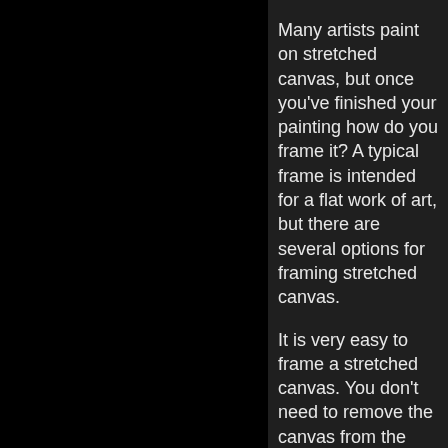[Figure (photo): A large black rectangular area occupying the left portion of the page]
Many artists paint on stretched canvas, but once you've finished your painting how do you frame it? A typical frame is intended for a flat work of art, but there are several options for framing stretched canvas.

It is very easy to frame a stretched canvas. You don't need to remove the canvas from the stretchers to frame the painting. The frame sits on the edge of the stretched canvas as it would on a canvas board, and there is no need to